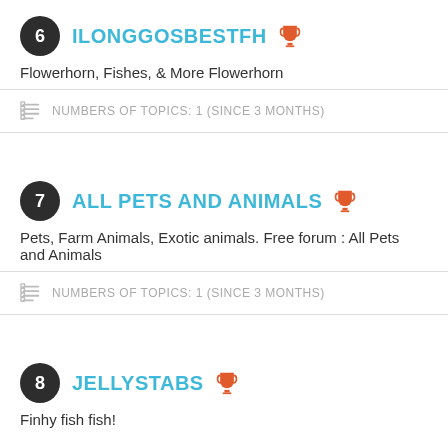6 ILONGGOSBESTFH
Flowerhorn, Fishes, & More Flowerhorn
NUMBERS OF TOPICS: 1 (SINCE 3 MONTHS)
7 ALL PETS AND ANIMALS
Pets, Farm Animals, Exotic animals. Free forum : All Pets and Animals
NUMBERS OF TOPICS: 1 (SINCE 3 MONTHS)
8 JELLYSTABS
Finhy fish fish!